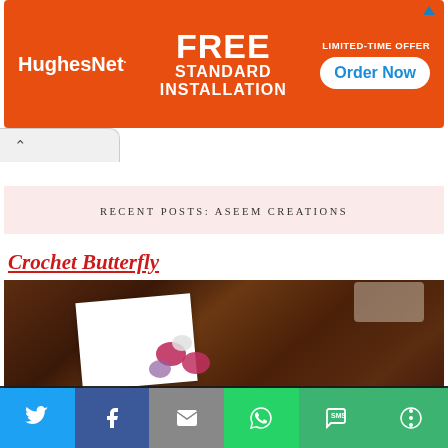[Figure (photo): HughesNet advertisement banner with orange background: FREE STANDARD INSTALLATION LIMITED-TIME OFFER Order Now button]
RECENT POSTS: ASEEM CREATIONS
Crochet Butterfly
[Figure (photo): Photo of crochet butterfly decorations on a dark marble surface with a white card and green stem]
Privacy & Cookies: This site uses cookies. By continuing to use this website, you agree to their use.
To find out more, including how to control cookies, see here: Cookie Policy
[Figure (infographic): Social sharing bar with Twitter, Facebook, Email, WhatsApp, SMS, and More buttons]